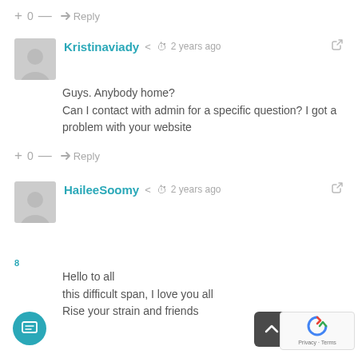+ 0 — → Reply
Kristinaviady  2 years ago
Guys. Anybody home?
Can I contact with admin for a specific question? I got a problem with your website
+ 0 — → Reply
HaileeSoomy  2 years ago
Hello to all
this difficult span, I love you all
Rise your strain and friends